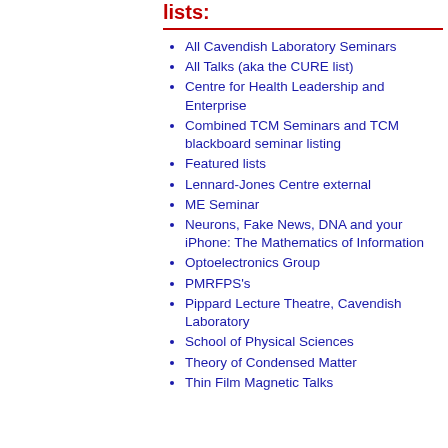lists:
All Cavendish Laboratory Seminars
All Talks (aka the CURE list)
Centre for Health Leadership and Enterprise
Combined TCM Seminars and TCM blackboard seminar listing
Featured lists
Lennard-Jones Centre external
ME Seminar
Neurons, Fake News, DNA and your iPhone: The Mathematics of Information
Optoelectronics Group
PMRFPS's
Pippard Lecture Theatre, Cavendish Laboratory
School of Physical Sciences
Theory of Condensed Matter
Thin Film Magnetic Talks